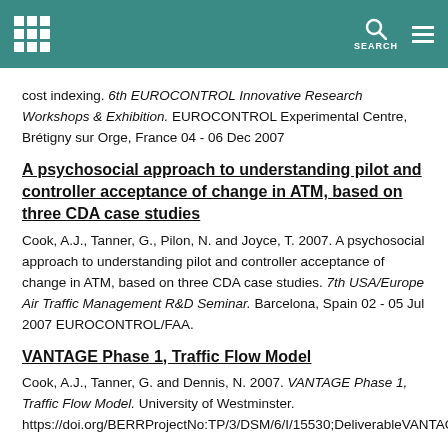SEARCH
cost indexing. 6th EUROCONTROL Innovative Research Workshops & Exhibition. EUROCONTROL Experimental Centre, Brétigny sur Orge, France 04 - 06 Dec 2007
A psychosocial approach to understanding pilot and controller acceptance of change in ATM, based on three CDA case studies
Cook, A.J., Tanner, G., Pilon, N. and Joyce, T. 2007. A psychosocial approach to understanding pilot and controller acceptance of change in ATM, based on three CDA case studies. 7th USA/Europe Air Traffic Management R&D Seminar. Barcelona, Spain 02 - 05 Jul 2007 EUROCONTROL/FAA.
VANTAGE Phase 1, Traffic Flow Model
Cook, A.J., Tanner, G. and Dennis, N. 2007. VANTAGE Phase 1, Traffic Flow Model. University of Westminster. https://doi.org/BERRProjectNo:TP/3/DSM/6/I/15530;DeliverableVANTAGE-